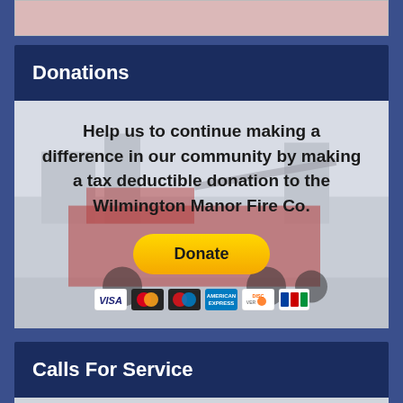[Figure (photo): Partial image visible at top of page - pink/red toned image, likely related to fire department]
Donations
[Figure (photo): Fire truck background image with donation appeal text overlay. Shows a red fire truck. Contains bold text: 'Help us to continue making a difference in our community by making a tax deductible donation to the Wilmington Manor Fire Co.' with a yellow PayPal Donate button and payment card icons (Visa, Mastercard, Maestro, American Express, Discover, JCB)]
Calls For Service
[Figure (photo): Partial image visible at the bottom of page]